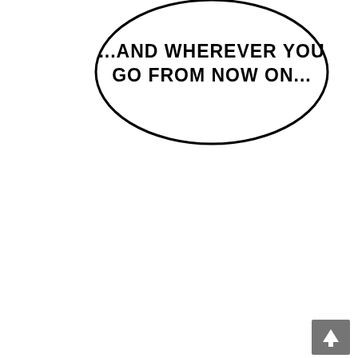[Figure (illustration): A manga/comic style speech bubble (rounded rectangle outline) containing the text '...AND WHEREVER YOU GO FROM NOW ON...' in bold hand-lettered comic font. The bubble is positioned in the upper-center area of the page on a white background. A small scroll indicator arrow button is visible in the bottom-right corner.]